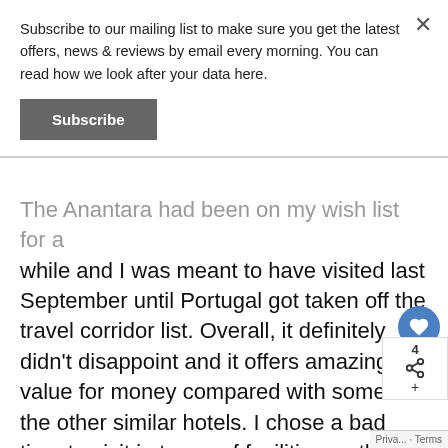Subscribe to our mailing list to make sure you get the latest offers, news & reviews by email every morning. You can read how we look after your data here.
Subscribe
The Anantara had been on my wish list for a while and I was meant to have visited last September until Portugal got taken off the travel corridor list. Overall, it definitely didn't disappoint and it offers amazing value for money compared with some of the other similar hotels. I chose a bad time to visit in terms of facilities as they were still getting to grips with the reopening and the deluge of Brits descending on them!
Highlights for me included having the Puro